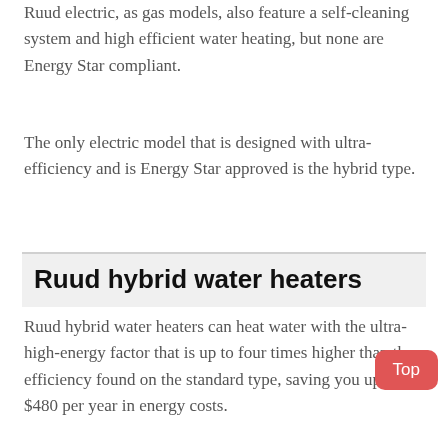Ruud electric, as gas models, also feature a self-cleaning system and high efficient water heating, but none are Energy Star compliant.
The only electric model that is designed with ultra-efficiency and is Energy Star approved is the hybrid type.
Ruud hybrid water heaters
Ruud hybrid water heaters can heat water with the ultra-high-energy factor that is up to four times higher than the efficiency found on the standard type, saving you up to $480 per year in energy costs.